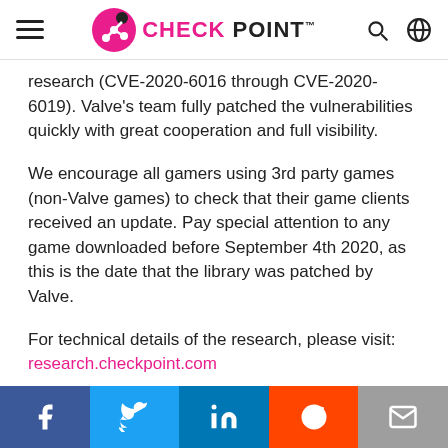CHECK POINT
research (CVE-2020-6016 through CVE-2020-6019). Valve's team fully patched the vulnerabilities quickly with great cooperation and full visibility.
We encourage all gamers using 3rd party games (non-Valve games) to check that their game clients received an update. Pay special attention to any game downloaded before September 4th 2020, as this is the date that the library was patched by Valve.
For technical details of the research, please visit: research.checkpoint.com